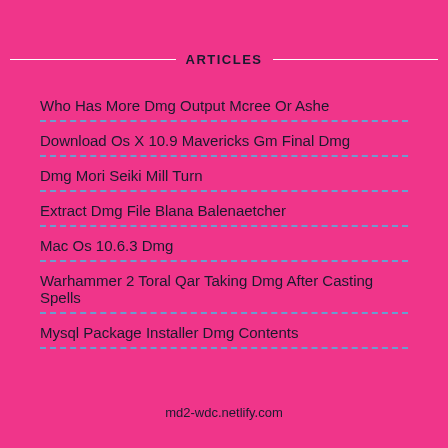ARTICLES
Who Has More Dmg Output Mcree Or Ashe
Download Os X 10.9 Mavericks Gm Final Dmg
Dmg Mori Seiki Mill Turn
Extract Dmg File Blana Balenaetcher
Mac Os 10.6.3 Dmg
Warhammer 2 Toral Qar Taking Dmg After Casting Spells
Mysql Package Installer Dmg Contents
md2-wdc.netlify.com